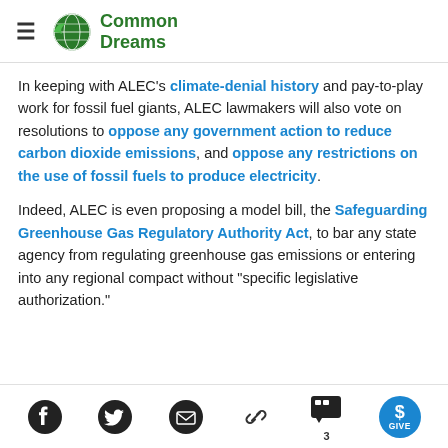Common Dreams
In keeping with ALEC's climate-denial history and pay-to-play work for fossil fuel giants, ALEC lawmakers will also vote on resolutions to oppose any government action to reduce carbon dioxide emissions, and oppose any restrictions on the use of fossil fuels to produce electricity.
Indeed, ALEC is even proposing a model bill, the Safeguarding Greenhouse Gas Regulatory Authority Act, to bar any state agency from regulating greenhouse gas emissions or entering into any regional compact without "specific legislative authorization."
Social share icons: Facebook, Twitter, Email, Link, Comments (3), GIVE